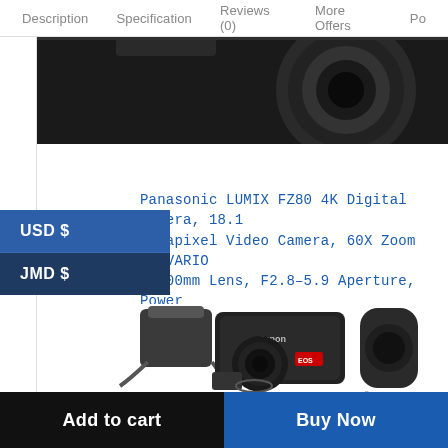Description  Specification  Reviews (0)  More Offers  Po
[Figure (photo): Top portion of a Panasonic LUMIX FZ80 camera, black, partially cropped]
USD $
JMD $
Panasonic LUMIX FZ80 4K Digital Camera, 18.1 Megapixel Video Camera, 60X Zoom DC VARIO –1200mm Lens, F2.8–5.9 Aperture, Power .S....
$533.00
[Figure (photo): Canon EOS DSLR camera kit with camera body, two lenses, carrying bag, battery charger, and accessory cable]
Add to cart
Buy Now